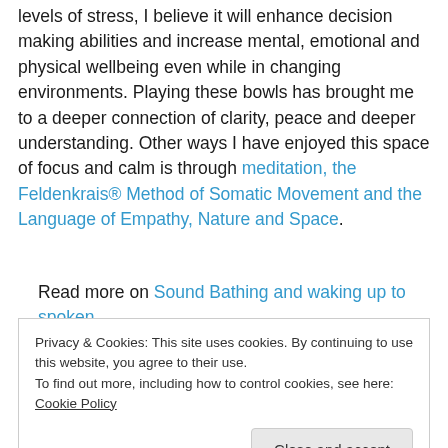levels of stress, I believe it will enhance decision making abilities and increase mental, emotional and physical wellbeing even while in changing environments. Playing these bowls has brought me to a deeper connection of clarity, peace and deeper understanding. Other ways I have enjoyed this space of focus and calm is through meditation, the Feldenkrais® Method of Somatic Movement and the Language of Empathy, Nature and Space.
Read more on Sound Bathing and waking up to spoken
Privacy & Cookies: This site uses cookies. By continuing to use this website, you agree to their use. To find out more, including how to control cookies, see here: Cookie Policy